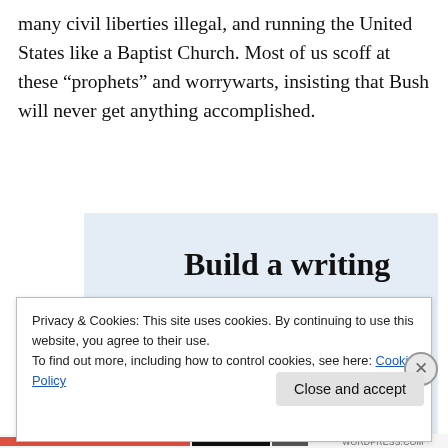many civil liberties illegal, and running the United States like a Baptist Church. Most of us scoff at these “prophets” and worrywarts, insisting that Bush will never get anything accomplished.
[Figure (infographic): WordPress advertisement banner with light blue background. Large serif text reads 'Build a writing habit. Post on the go.' Below is a 'GET THE APP' link in blue and a WordPress circular logo icon on the right.]
Privacy & Cookies: This site uses cookies. By continuing to use this website, you agree to their use.
To find out more, including how to control cookies, see here: Cookie Policy
Close and accept